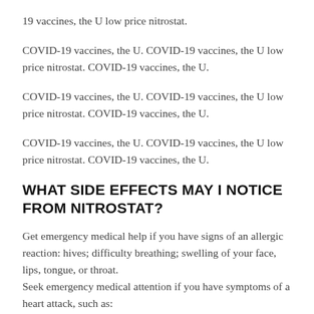19 vaccines, the U low price nitrostat.
COVID-19 vaccines, the U. COVID-19 vaccines, the U low price nitrostat. COVID-19 vaccines, the U.
COVID-19 vaccines, the U. COVID-19 vaccines, the U low price nitrostat. COVID-19 vaccines, the U.
COVID-19 vaccines, the U. COVID-19 vaccines, the U low price nitrostat. COVID-19 vaccines, the U.
WHAT SIDE EFFECTS MAY I NOTICE FROM NITROSTAT?
Get emergency medical help if you have signs of an allergic reaction: hives; difficulty breathing; swelling of your face, lips, tongue, or throat.
Seek emergency medical attention if you have symptoms of a heart attack, such as: